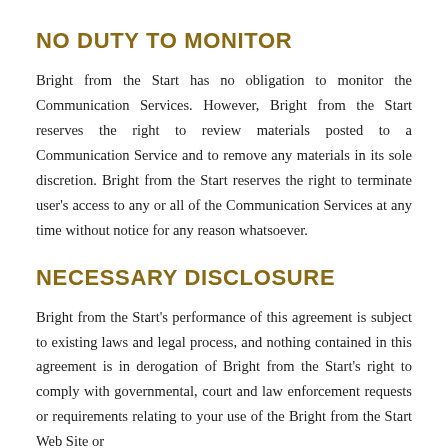NO DUTY TO MONITOR
Bright from the Start has no obligation to monitor the Communication Services. However, Bright from the Start reserves the right to review materials posted to a Communication Service and to remove any materials in its sole discretion. Bright from the Start reserves the right to terminate user's access to any or all of the Communication Services at any time without notice for any reason whatsoever.
NECESSARY DISCLOSURE
Bright from the Start's performance of this agreement is subject to existing laws and legal process, and nothing contained in this agreement is in derogation of Bright from the Start's right to comply with governmental, court and law enforcement requests or requirements relating to your use of the Bright from the Start Web Site or